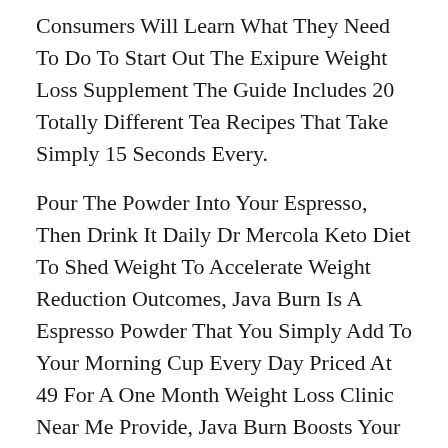Consumers Will Learn What They Need To Do To Start Out The Exipure Weight Loss Supplement The Guide Includes 20 Totally Different Tea Recipes That Take Simply 15 Seconds Every.
Pour The Powder Into Your Espresso, Then Drink It Daily Dr Mercola Keto Diet To Shed Weight To Accelerate Weight Reduction Outcomes, Java Burn Is A Espresso Powder That You Simply Add To Your Morning Cup Every Day Priced At 49 For A One Month Weight Loss Clinic Near Me Provide, Java Burn Boosts Your Metabolism, Growing The Variety Of Energy You Burn At Relaxation And When Active.
Therefore, It S Evident That A Weight Reduction Pill Marketed By A Reputed Producer Is More More Probably To Ship Better Results Inside Short Spans, And You Must